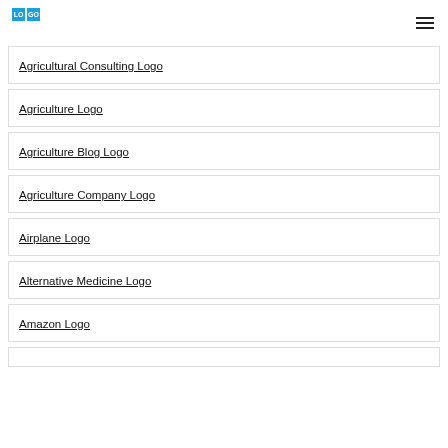LOGO
Agricultural Consulting Logo
Agriculture Logo
Agriculture Blog Logo
Agriculture Company Logo
Airplane Logo
Alternative Medicine Logo
Amazon Logo